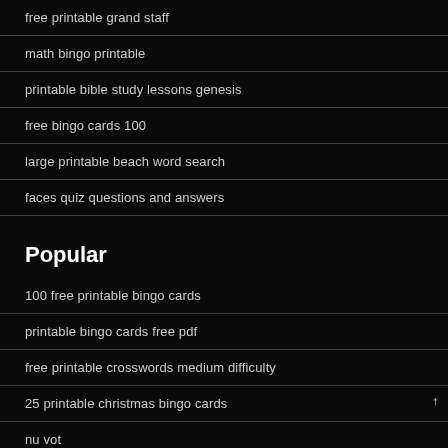free printable grand staff
math bingo printable
printable bible study lessons genesis
free bingo cards 100
large printable beach word search
faces quiz questions and answers
Popular
100 free printable bingo cards
printable bingo cards free pdf
free printable crosswords medium difficulty
25 printable christmas bingo cards
nu vot